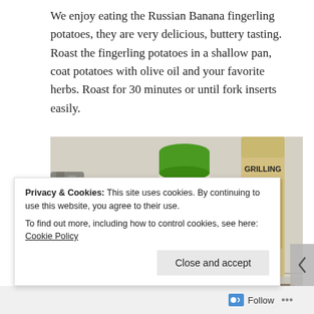We enjoy eating the Russian Banana fingerling potatoes, they are very delicious, buttery tasting. Roast the fingerling potatoes in a shallow pan, coat potatoes with olive oil and your favorite herbs. Roast for 30 minutes or until fork inserts easily.
[Figure (photo): Photo of a McCormick Salt Free Lemon & Pepper spice jar with green lid, and a Grilling seasoning bottle on a counter, with metal tongs and a glass baking dish with food in the foreground.]
Privacy & Cookies: This site uses cookies. By continuing to use this website, you agree to their use.
To find out more, including how to control cookies, see here: Cookie Policy
Follow